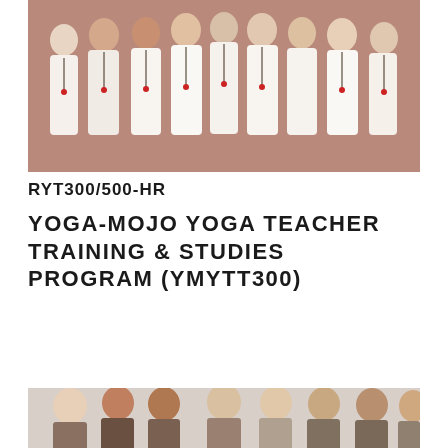[Figure (photo): Group photo of approximately 9 women dressed in white clothing, wearing bead necklaces with red tassels, standing together in front of a brick wall]
RYT300/500-HR
YOGA-MOJO YOGA TEACHER TRAINING & STUDIES PROGRAM (YMYTT300)
[Figure (photo): Group photo of approximately 8 women, some with light hair, sitting or standing close together, smiling at the camera against a light background]